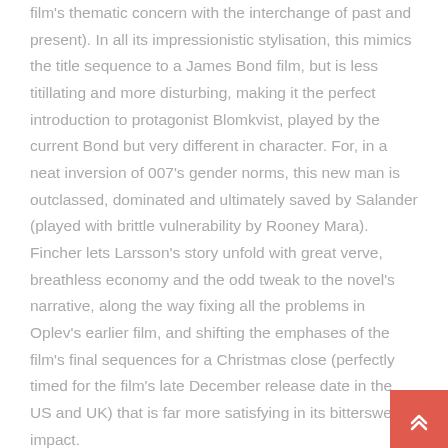film's thematic concern with the interchange of past and present). In all its impressionistic stylisation, this mimics the title sequence to a James Bond film, but is less titillating and more disturbing, making it the perfect introduction to protagonist Blomkvist, played by the current Bond but very different in character. For, in a neat inversion of 007's gender norms, this new man is outclassed, dominated and ultimately saved by Salander (played with brittle vulnerability by Rooney Mara). Fincher lets Larsson's story unfold with great verve, breathless economy and the odd tweak to the novel's narrative, along the way fixing all the problems in Oplev's earlier film, and shifting the emphases of the film's final sequences for a Christmas close (perfectly timed for the film's late December release date in the US and UK) that is far more satisfying in its bittersweet impact.